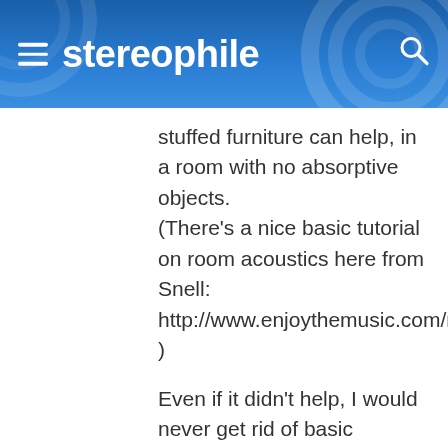stereophile
stuffed furniture can help, in a room with no absorptive objects.
(There's a nice basic tutorial on room acoustics here from Snell:
http://www.enjoythemusic.com/m
)
Even if it didn't help, I would never get rid of basic essential items in a home listening room, like a rug and furniture. Living takes precedence over audio. But beyond that, the objects...